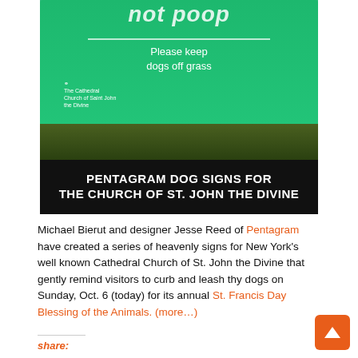[Figure (photo): Photo of a green lawn sign reading 'Please keep dogs off grass' with The Cathedral Church of Saint John the Divine logo, on a metal stake in grass. Below the photo is a black caption bar reading 'PENTAGRAM DOG SIGNS FOR THE CHURCH OF ST. JOHN THE DIVINE'.]
Michael Bierut and designer Jesse Reed of Pentagram have created a series of heavenly signs for New York's well known Cathedral Church of St. John the Divine that gently remind visitors to curb and leash thy dogs on Sunday, Oct. 6 (today) for its annual St. Francis Day Blessing of the Animals. (more...)
share: